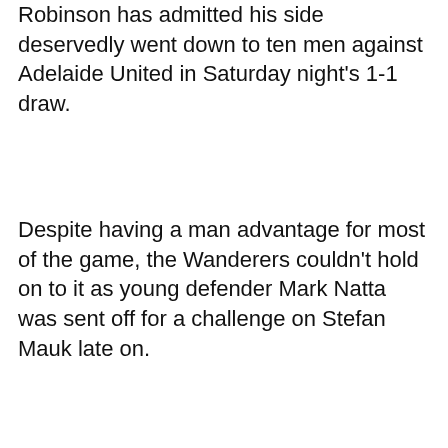Robinson has admitted his side deservedly went down to ten men against Adelaide United in Saturday night's 1-1 draw.
Despite having a man advantage for most of the game, the Wanderers couldn't hold on to it as young defender Mark Natta was sent off for a challenge on Stefan Mauk late on.
"Natta has got the wrong side. He's been reeled in by an experienced player, but it's a red card. He's the last man, so you've got no complaints on my red card," he said post-match.
"We deservedly were down to ten men because that's just a naive decision from